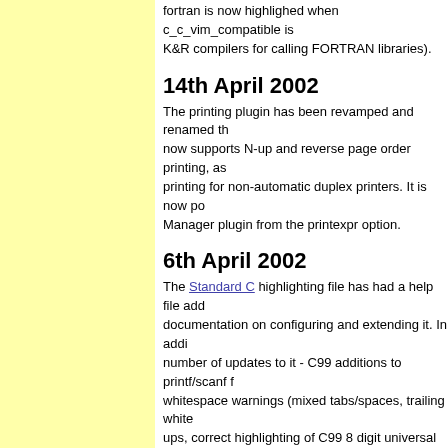fortran is now highlighed when c_c_vim_compatible is set (useful with K&R compilers for calling FORTRAN libraries).
14th April 2002
The printing plugin has been revamped and renamed th... now supports N-up and reverse page order printing, as ... printing for non-automatic duplex printers. It is now po... Manager plugin from the printexpr option.
6th April 2002
The Standard C highlighting file has had a help file add... documentation on configuring and extending it. In addi... number of updates to it - C99 additions to printf/scanf ... whitespace warnings (mixed tabs/spaces, trailing white... ups, correct highlighting of C99 8 digit universal chara... c_no_utf, and a few other minor fixes.
28th March 2002
Yet more updates to Standard C highlighting. Allow bra... macro definitions for Linux kernel code. Fix highlighti... characters. Can now highlight multiple character intege...
20th February 2002
Updates to Standard C highlighting. Correct pattern ma... highlights in comments. Fixed highlighting of a couple... some missing C99 library types and constants.
20th February 2002